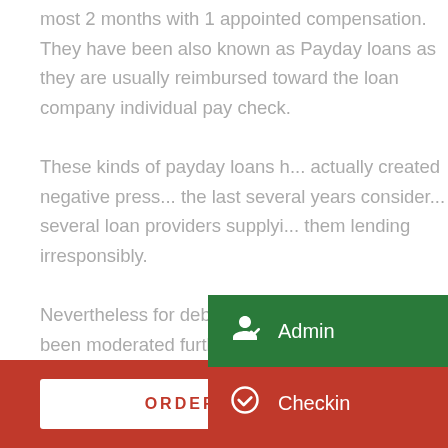most 2 months with 1 appointed compensation. They have been also known as Payday loans as they are usually reimbursed toward the loan company individual pay check. These kinds of payday loans h... actually created negative press... the last several years consider... several loan providers supplyi... them lending irresponsibly. Nevertheless for debtors, the possess since already been moderated furthermore assuring solely those lenders that are providing shorter
[Figure (screenshot): Dropdown menu overlay with two items: 'Admin' on a dark green background with a user-check icon, and 'Checkin' on a red background with a checkmark icon.]
ORDER ONLINE